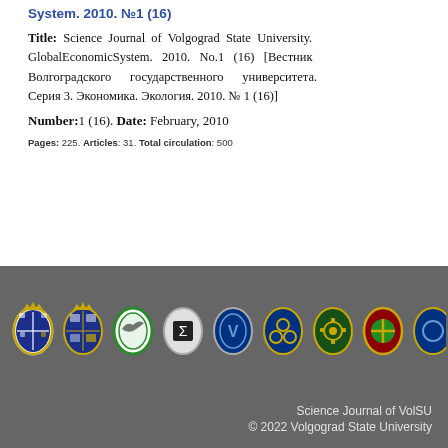System. 2010. №1 (16)
Title: Science Journal of Volgograd State University. GlobalEconomicSystem. 2010. No.1 (16) [Вестник Волгоградского государственного университета. Серия 3. Экономика. Экология. 2010. № 1 (16)]
Number: 1 (16). Date: February, 2010
Pages: 225. Articles: 31. Total circulation: 500
[Figure (logo): Row of nine university emblem/seal logos on dark grey background]
Science Journal of VolSU © 2022 Volgograd State University